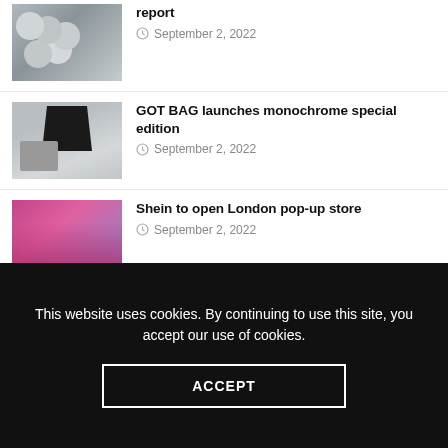[Figure (photo): Thumbnail image of fluffy white spherical plants/flowers]
report
September 2, 2022
[Figure (photo): Thumbnail image of GOT BAG monochrome bags and accessories]
GOT BAG launches monochrome special edition
September 2, 2022
[Figure (photo): Thumbnail image of woman in pink outfit for Shein article]
Shein to open London pop-up store
September 2, 2022
[Figure (photo): Thumbnail image of Black Lives Matter catwalk show]
Brand Licensing Europe announces Culture & Unity catwalk show in support of Black Lives Matter Movement
September 2, 2022
This website uses cookies. By continuing to use this site, you accept our use of cookies.
ACCEPT